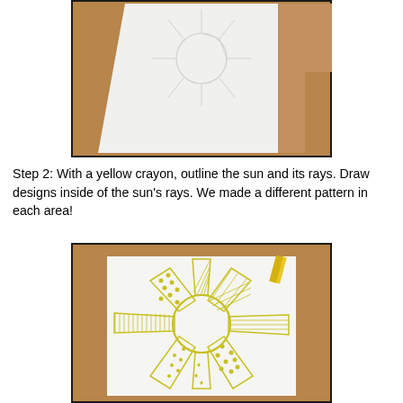[Figure (photo): Photo of a white piece of paper on a brown/tan surface, showing a pencil outline of a sun with rays drawn in the top-center of the paper. The outline is very light/faint.]
Step 2: With a yellow crayon, outline the sun and its rays. Draw designs inside of the sun's rays. We made a different pattern in each area!
[Figure (photo): Photo of a white square piece of paper on a brown/tan wooden surface, showing a sun with rays outlined in yellow crayon. Each ray section contains a different pattern (cross-hatching, dots/circles, wavy lines, stars, etc.). A yellow crayon is visible in the top-right corner.]